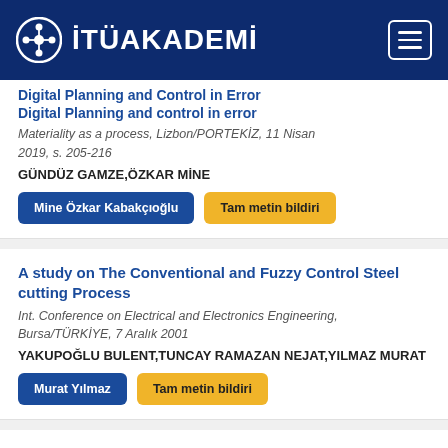[Figure (logo): ITU Akademi logo with header navigation bar on dark blue background]
Digital Planning and Control in Error
Materiality as a process, Lizbon/PORTEKİZ, 11 Nisan 2019, s. 205-216
GÜNDÜZ GAMZE,ÖZKAR MİNE
Mine Özkar Kabakçıoğlu | Tam metin bildiri
A study on The Conventional and Fuzzy Control Steel cutting Process
Int. Conference on Electrical and Electronics Engineering, Bursa/TÜRKİYE, 7 Aralık 2001
YAKUPOĞLU BULENT,TUNCAY RAMAZAN NEJAT,YILMAZ MURAT
Murat Yılmaz | Tam metin bildiri